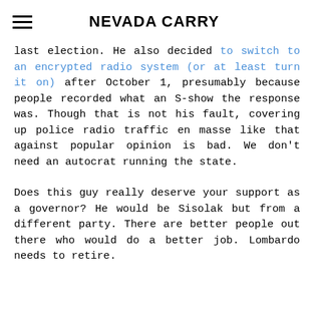NEVADA CARRY
last election. He also decided to switch to an encrypted radio system (or at least turn it on) after October 1, presumably because people recorded what an S-show the response was. Though that is not his fault, covering up police radio traffic en masse like that against popular opinion is bad. We don't need an autocrat running the state.

Does this guy really deserve your support as a governor? He would be Sisolak but from a different party. There are better people out there who would do a better job. Lombardo needs to retire.